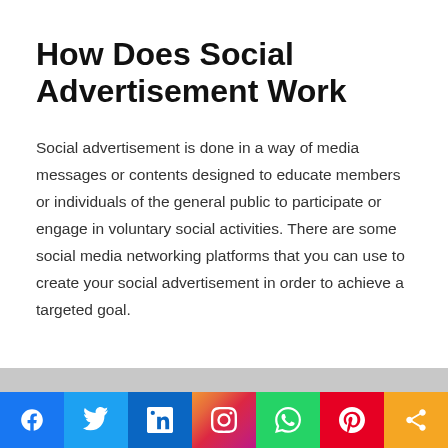How Does Social Advertisement Work
Social advertisement is done in a way of media messages or contents designed to educate members or individuals of the general public to participate or engage in voluntary social activities. There are some social media networking platforms that you can use to create your social advertisement in order to achieve a targeted goal.